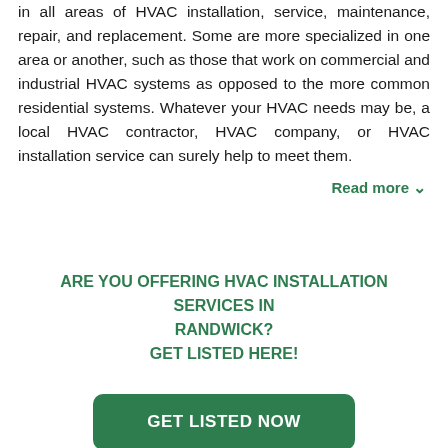in all areas of HVAC installation, service, maintenance, repair, and replacement. Some are more specialized in one area or another, such as those that work on commercial and industrial HVAC systems as opposed to the more common residential systems. Whatever your HVAC needs may be, a local HVAC contractor, HVAC company, or HVAC installation service can surely help to meet them.
Read more
ARE YOU OFFERING HVAC INSTALLATION SERVICES IN RANDWICK? GET LISTED HERE!
GET LISTED NOW